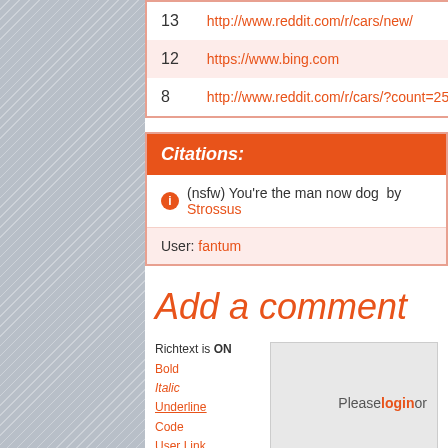| Count | URL |
| --- | --- |
| 13 | http://www.reddit.com/r/cars/new/ |
| 12 | https://www.bing.com |
| 8 | http://www.reddit.com/r/cars/?count=25&after=t3... |
Citations:
(nsfw) You're the man now dog  by Strossus
User: fantum
Add a comment
Richtext is ON
Bold
Italic
Underline
Code
User Link
Site Link
Please login or...
SUBMIT   0 of 2000 characters used.